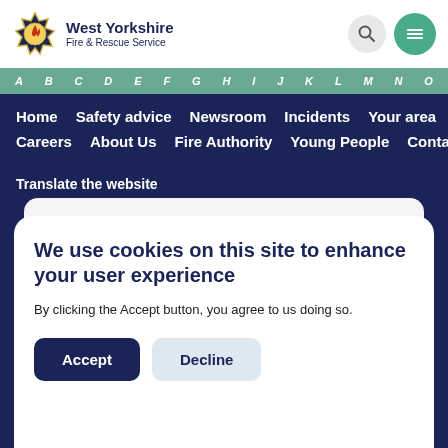West Yorkshire Fire & Rescue Service
A B C D E F G H I J K L M N O
Home  Safety advice  Newsroom  Incidents  Your area
Careers  About Us  Fire Authority  Young People  Contact us
Translate the website
We use cookies on this site to enhance your user experience
By clicking the Accept button, you agree to us doing so.
Accept
Decline